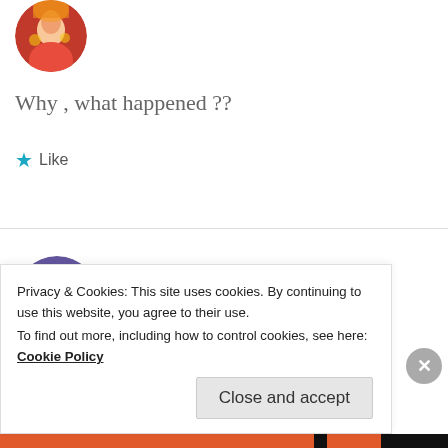[Figure (photo): Circular avatar image of a person in traditional Indian dress with golden/red colors, partially cropped at top]
Why , what happened ??
★ Like
[Figure (photo): Circular avatar of a woman in traditional Indian bridal/classical dress with jewelry, pink flower in hair]
□□□□ □□□□
27 Apr 2019 at 3:28 pm
Hello priya. How are you ?
Privacy & Cookies: This site uses cookies. By continuing to use this website, you agree to their use.
To find out more, including how to control cookies, see here: Cookie Policy
Close and accept